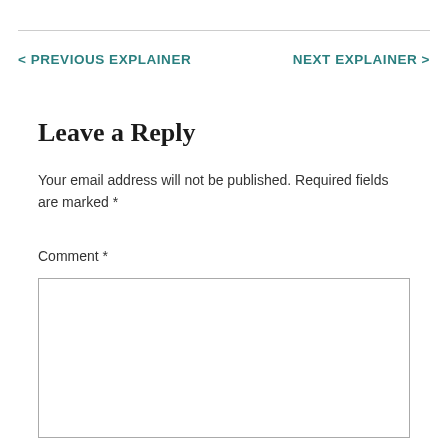< PREVIOUS EXPLAINER
NEXT EXPLAINER >
Leave a Reply
Your email address will not be published. Required fields are marked *
Comment *